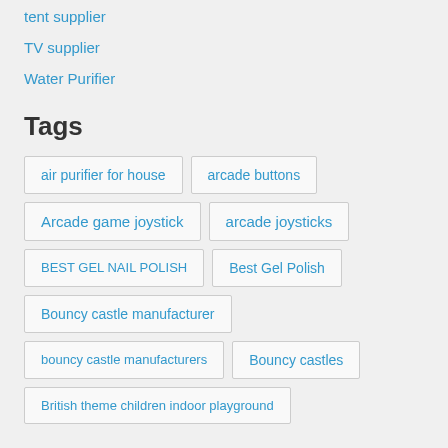tent supplier
TV supplier
Water Purifier
Tags
air purifier for house
arcade buttons
Arcade game joystick
arcade joysticks
BEST GEL NAIL POLISH
Best Gel Polish
Bouncy castle manufacturer
bouncy castle manufacturers
Bouncy castles
British theme children indoor playground